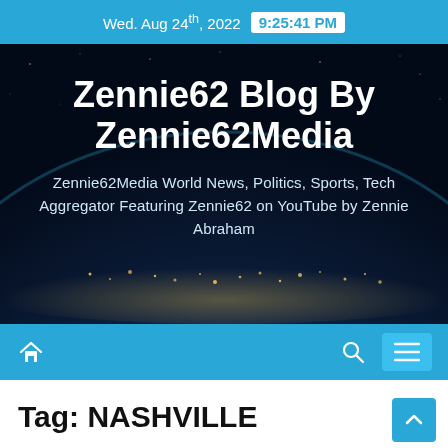Wed. Aug 24th, 2022  9:25:41 PM
[Figure (illustration): Dark globe/Earth from space banner background with city lights visible, serving as hero image background]
Zennie62 Blog By Zennie62Media
Zennie62Media World News, Politics, Sports, Tech Aggregator Featuring Zennie62 on YouTube by Zennie Abraham
Tag: NASHVILLE